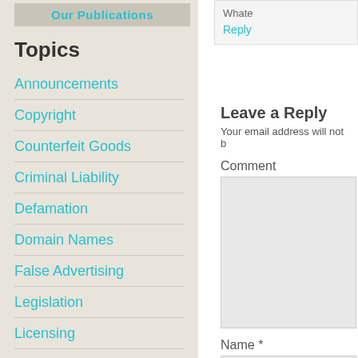[Figure (screenshot): Button labeled 'Our Publications' in teal text on a gray/beige background]
Topics
Announcements
Copyright
Counterfeit Goods
Criminal Liability
Defamation
Domain Names
False Advertising
Legislation
Licensing
Patent
Privacy
Right of Publicity
Social Media
Speech
Supreme Court
Whate...
Reply
Leave a Reply
Your email address will not b
Comment
Name *
Email *